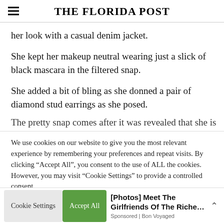THE FLORIDA POST
her look with a casual denim jacket.
She kept her makeup neutral wearing just a slick of black mascara in the filtered snap.
She added a bit of bling as she donned a pair of diamond stud earrings as she posed.
The pretty snap comes after it was revealed that she is
We use cookies on our website to give you the most relevant experience by remembering your preferences and repeat visits. By clicking “Accept All”, you consent to the use of ALL the cookies. However, you may visit “Cookie Settings” to provide a controlled consent.
[Photos] Meet The Girlfriends Of The Riche…
Sponsored | Bon Voyaged